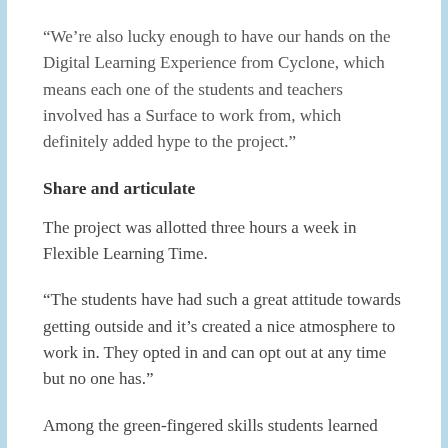“We’re also lucky enough to have our hands on the Digital Learning Experience from Cyclone, which means each one of the students and teachers involved has a Surface to work from, which definitely added hype to the project.”
Share and articulate
The project was allotted three hours a week in Flexible Learning Time.
“The students have had such a great attitude towards getting outside and it’s created a nice atmosphere to work in. They opted in and can opt out at any time but no one has.”
Among the green-fingered skills students learned were: